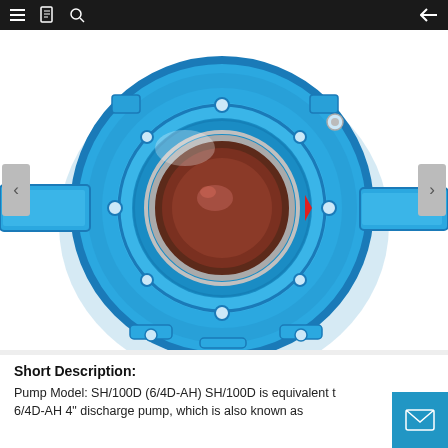[Figure (photo): Front view of a blue industrial slurry pump (SH/100D, 6/4D-AH equivalent) showing circular housing with central impeller bore lined with dark red rubber, multiple bolt holes around face plate, and mounting feet. The pump body is painted bright blue with a small red arrow/mark on the side.]
Short Description:
Pump Model: SH/100D (6/4D-AH) SH/100D is equivalent to 6/4D-AH 4" discharge pump, which is also known as